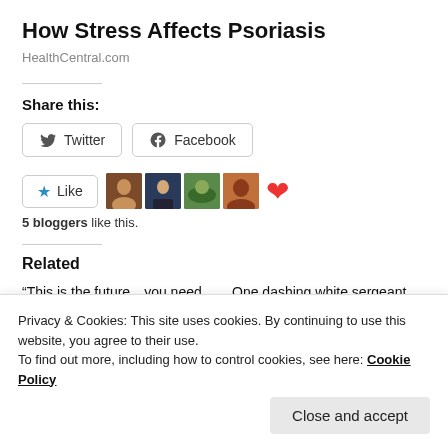How Stress Affects Psoriasis
HealthCentral.com
Share this:
Twitter  Facebook
Like  5 bloggers like this.
Related
“This is the future…you need to tell people about this!”
November 26, 2018
One dashing white sergeant, add a derailment, malt whisky and an abundance of…
Privacy & Cookies: This site uses cookies. By continuing to use this website, you agree to their use.
To find out more, including how to control cookies, see here: Cookie Policy
Close and accept